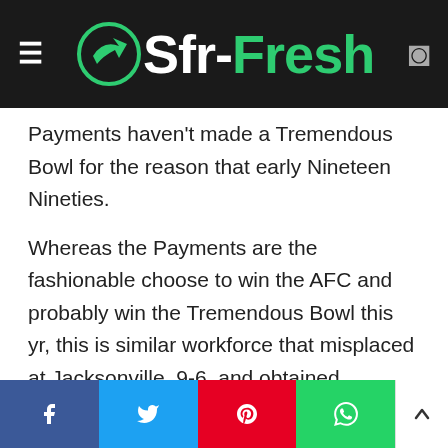Sfr-Fresh
Payments haven't made a Tremendous Bowl for the reason that early Nineteen Nineties.
Whereas the Payments are the fashionable choose to win the AFC and probably win the Tremendous Bowl this yr, this is similar workforce that misplaced at Jacksonville, 9-6, and obtained hammered by Indianapolis, 41-19, final yr. And it's a workforce that misplaced to the Bucs final yr, 33-27, in extra time.
The Ravens have gone 43-22 over the previous 4 years. That's a good higher report than the Bucs. But, Baltimore hasn't even reached the AFC Championship Sport regardless of
f  Twitter  Pinterest  WhatsApp